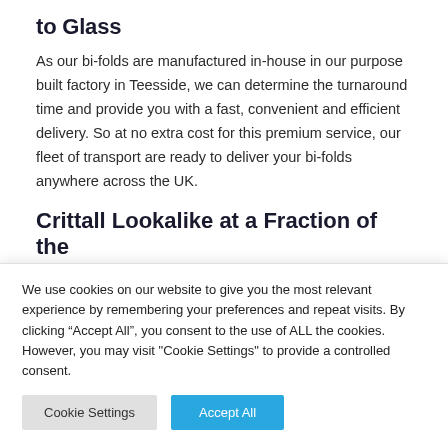to Glass
As our bi-folds are manufactured in-house in our purpose built factory in Teesside, we can determine the turnaround time and provide you with a fast, convenient and efficient delivery. So at no extra cost for this premium service, our fleet of transport are ready to deliver your bi-folds anywhere across the UK.
Crittall Lookalike at a Fraction of the Cost
We use cookies on our website to give you the most relevant experience by remembering your preferences and repeat visits. By clicking “Accept All”, you consent to the use of ALL the cookies. However, you may visit "Cookie Settings" to provide a controlled consent.